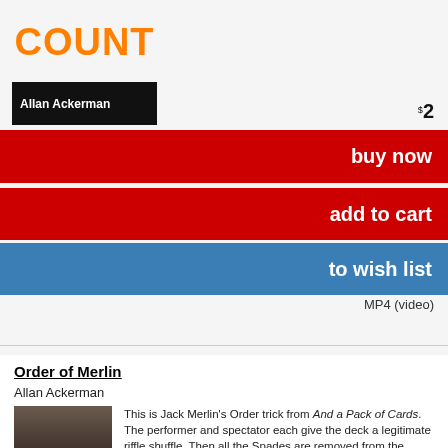[Figure (photo): Book cover showing orange text COUNT and black bar with Allan Ackerman in white]
$2
buy now
add to cart
to wish list
MP4 (video)
Order of Merlin
Allan Ackerman
[Figure (photo): Book/DVD cover showing a person's face and blue text ORDER OF]
This is Jack Merlin’s Order trick from And a Pack of Cards. The performer and spectator each give the deck a legitimate riffle shuffle. Then all the Spades are removed from the deck, shown in a ribbon